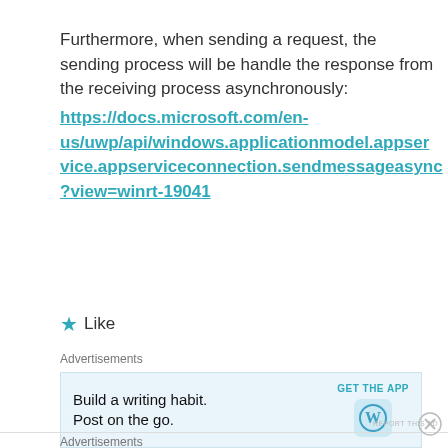Furthermore, when sending a request, the sending process will be handle the response from the receiving process asynchronously: https://docs.microsoft.com/en-us/uwp/api/windows.applicationmodel.appservice.appserviceconnection.sendmessageasync?view=winrt-19041
★ Like
Advertisements
[Figure (screenshot): WordPress advertisement banner: 'Build a writing habit. Post on the go.' with GET THE APP button and WordPress logo]
REPORT THIS AD
Advertisements
[Figure (screenshot): Day One app advertisement: 'The only journaling app you'll ever need.' with cartoon icons on blue background]